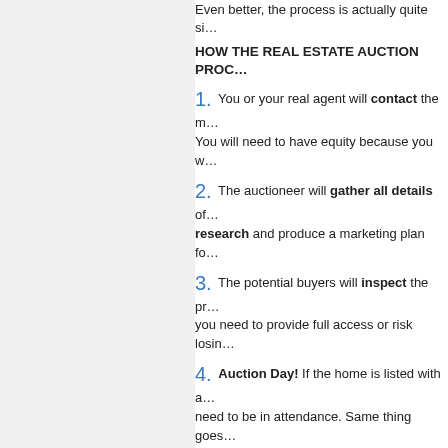Even better, the process is actually quite si…
HOW THE REAL ESTATE AUCTION PROC…
1. You or your real agent will contact the m… You will need to have equity because you w…
2. The auctioneer will gather all details of… research and produce a marketing plan fo…
3. The potential buyers will inspect the pr… you need to provide full access or risk losin…
4. Auction Day! If the home is listed with a… need to be in attendance. Same thing goes…
WHAT CAN YOU BUY OR SELL AT A REA…
Continue reading "Austin Home Auction Live! Webs…"
Wednesday, February 13, 2008 in Austin and … Industry, Blog and Tech N…
MONDAY, JANUARY 14, 2008
Step Up to the Mic: Market C…
By DeeinAustin™